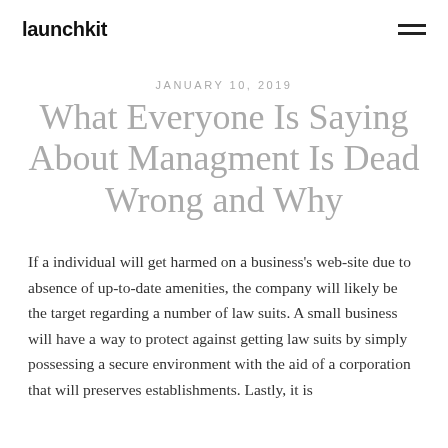launchkit
JANUARY 10, 2019
What Everyone Is Saying About Managment Is Dead Wrong and Why
If a individual will get harmed on a business's web-site due to absence of up-to-date amenities, the company will likely be the target regarding a number of law suits. A small business will have a way to protect against getting law suits by simply possessing a secure environment with the aid of a corporation that will preserves establishments. Lastly, it is